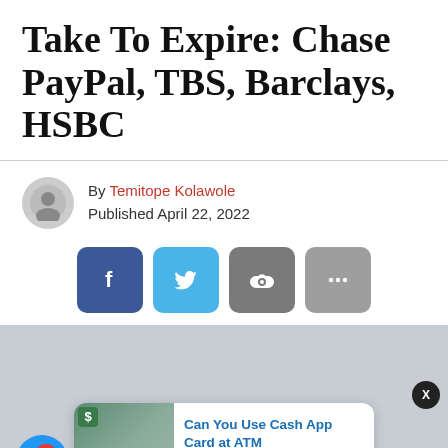Take To Expire: Chase PayPal, TBS, Barclays, HSBC
By Temitope Kolawole
Published April 22, 2022
[Figure (screenshot): Social media share buttons: Facebook (blue), Twitter (light blue), link (gray), more options (gray)]
[Figure (screenshot): Gray section with a notification card showing 'Can You Use Cash App Card at ATM' article, a close button (X), and a blue bell notification icon with badge showing 3]